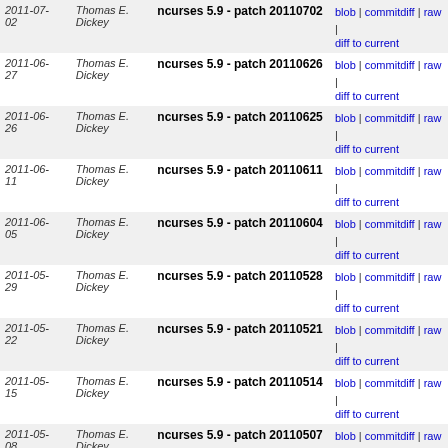| Date | Author | Patch | Links |
| --- | --- | --- | --- |
| 2011-07-02 | Thomas E. Dickey | ncurses 5.9 - patch 20110702 | blob | commitdiff | raw | diff to current |
| 2011-06-27 | Thomas E. Dickey | ncurses 5.9 - patch 20110626 | blob | commitdiff | raw | diff to current |
| 2011-06-26 | Thomas E. Dickey | ncurses 5.9 - patch 20110625 | blob | commitdiff | raw | diff to current |
| 2011-06-11 | Thomas E. Dickey | ncurses 5.9 - patch 20110611 | blob | commitdiff | raw | diff to current |
| 2011-06-05 | Thomas E. Dickey | ncurses 5.9 - patch 20110604 | blob | commitdiff | raw | diff to current |
| 2011-05-29 | Thomas E. Dickey | ncurses 5.9 - patch 20110528 | blob | commitdiff | raw | diff to current |
| 2011-05-22 | Thomas E. Dickey | ncurses 5.9 - patch 20110521 | blob | commitdiff | raw | diff to current |
| 2011-05-15 | Thomas E. Dickey | ncurses 5.9 - patch 20110514 | blob | commitdiff | raw | diff to current |
| 2011-05-08 | Thomas E. Dickey | ncurses 5.9 - patch 20110507 | blob | commitdiff | raw | diff to current |
| 2011-05-01 | Thomas E. Dickey | ncurses 5.9 - patch 20110430 | blob | commitdiff | raw | diff to current |
| 2011-04-24 | Thomas E. Dickey | ncurses 5.9 - patch 20110423 | blob | commitdiff | raw | diff to current |
| 2011-04-16 | Thomas E. Dickey | ncurses 5.9 - patch 20110416 | blob | commitdiff | raw | diff to current |
| 2011-04-10 | Thomas E. Dickey | ncurses 5.9 - patch 20110409 | blob | commitdiff | raw | diff to current |
| 2011-04- | Thomas E. | ncurses 5.9 - patch | blob | commitdiff | raw |